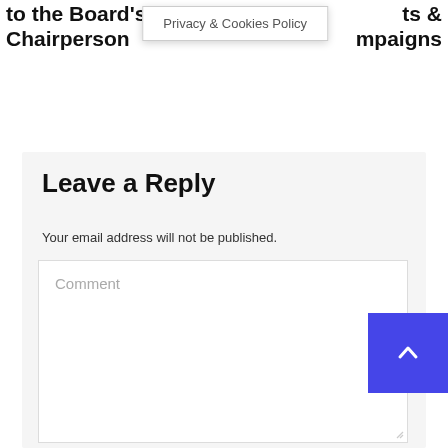to the Board's Chairperson
ts & mpaigns
Privacy & Cookies Policy
Leave a Reply
Your email address will not be published.
Comment